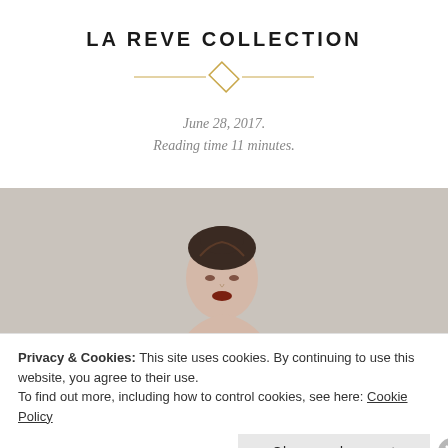LA REVE COLLECTION
June 28, 2017.
Reading time 11 minutes.
[Figure (photo): Woman with dark braided updo hair and dark lipstick, bare shoulder, against a neutral gray background — fashion/bridal editorial photo.]
Privacy & Cookies: This site uses cookies. By continuing to use this website, you agree to their use.
To find out more, including how to control cookies, see here: Cookie Policy
Close and accept